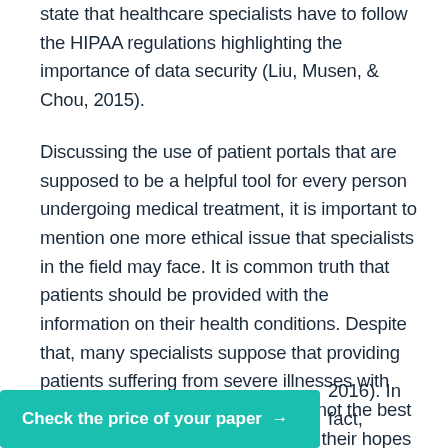state that healthcare specialists have to follow the HIPAA regulations highlighting the importance of data security (Liu, Musen, & Chou, 2015).
Discussing the use of patient portals that are supposed to be a helpful tool for every person undergoing medical treatment, it is important to mention one more ethical issue that specialists in the field may face. It is common truth that patients should be provided with the information on their health conditions. Despite that, many specialists suppose that providing patients suffering from severe illnesses with the results of their medical tests is not the best decision as it may sometimes dent their hopes and, therefore, have a negative influence on 2016). In fact,
Check the price of your paper →